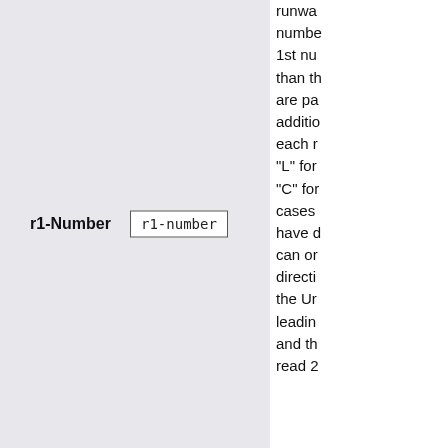| Field | Input | Description |
| --- | --- | --- |
| r1-Number | r1-number | runway number 1st nu than th are pa additio each r "L" for "C" for cases have d can or directi the Ur leadin and th read 2 |
runway number 1st nu than th are pa additio each r "L" for "C" for cases have d can or directi the Ur leadin and th read 2